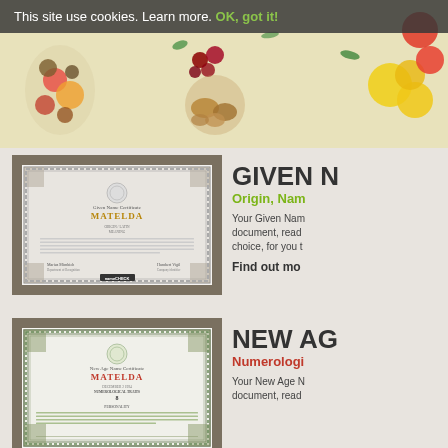[Figure (photo): Top banner showing various fruits and nuts on a light yellow/cream background]
This site use cookies. Learn more. OK, got it!
[Figure (photo): Given Name Certificate for MATELDA with ornate border, signed by Marius Mirnbich and Humbert Vigil]
GIVEN N
Origin, Nam
Your Given Nam document, read choice, for you t
Find out mo
[Figure (photo): New Age Name Certificate for MATELDA with green ornate border, showing Numerological Traits and Personality section]
NEW AG
Numerologi
Your New Age N document, read